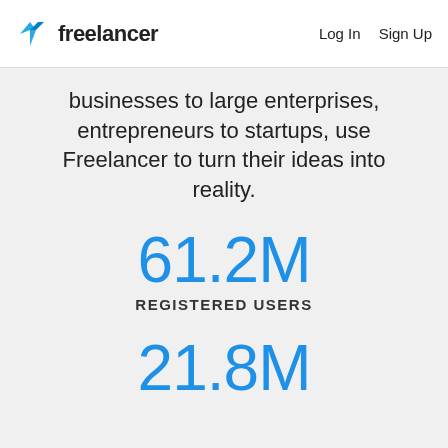Freelancer | Log In  Sign Up
businesses to large enterprises, entrepreneurs to startups, use Freelancer to turn their ideas into reality.
61.2M
REGISTERED USERS
21.8M